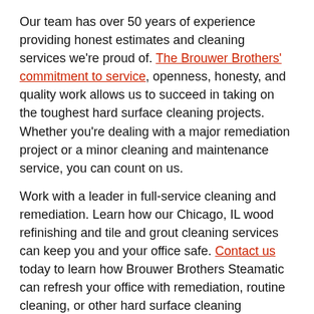Our team has over 50 years of experience providing honest estimates and cleaning services we're proud of. The Brouwer Brothers' commitment to service, openness, honesty, and quality work allows us to succeed in taking on the toughest hard surface cleaning projects. Whether you're dealing with a major remediation project or a minor cleaning and maintenance service, you can count on us.
Work with a leader in full-service cleaning and remediation. Learn how our Chicago, IL wood refinishing and tile and grout cleaning services can keep you and your office safe. Contact us today to learn how Brouwer Brothers Steamatic can refresh your office with remediation, routine cleaning, or other hard surface cleaning solutions in Chicago, IL.
The Brouwer Brothers Steamatic Difference
Not Just Clean—Sealed: Grout, in particular, can retain residues